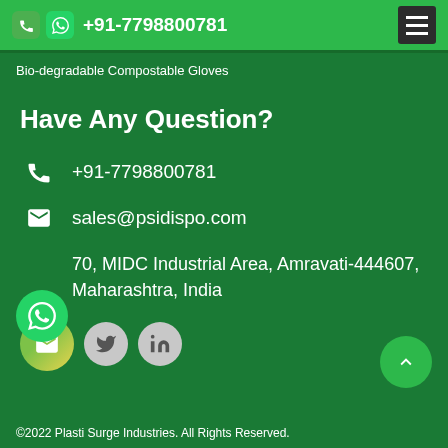+91-7798800781
Bio-degradable Compostable Gloves
Have Any Question?
+91-7798800781
sales@psidispo.com
70, MIDC Industrial Area, Amravati-444607, Maharashtra, India
©2022 Plasti Surge Industries. All Rights Reserved.